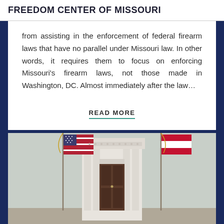FREEDOM CENTER OF MISSOURI
from assisting in the enforcement of federal firearm laws that have no parallel under Missouri law. In other words, it requires them to focus on enforcing Missouri's firearm laws, not those made in Washington, DC. Almost immediately after the law…
READ MORE
[Figure (photo): Interior of a formal government or court building showing a ornate doorway with Grecian columns, flanked by an American flag on the left and a red state flag on the right, set against a light grey wall.]